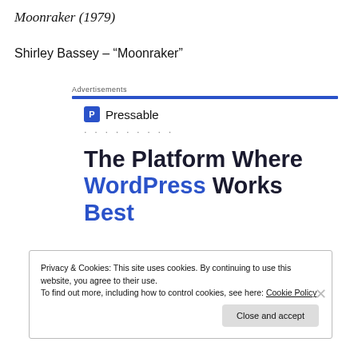Moonraker (1979)
Shirley Bassey – “Moonraker”
Advertisements
[Figure (screenshot): Pressable advertisement with logo and headline: The Platform Where WordPress Works Best]
Privacy & Cookies: This site uses cookies. By continuing to use this website, you agree to their use.
To find out more, including how to control cookies, see here: Cookie Policy